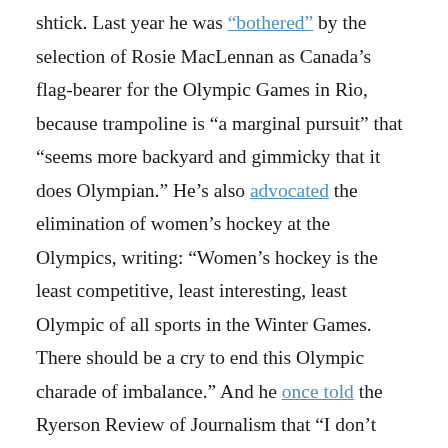shtick. Last year he was "bothered" by the selection of Rosie MacLennan as Canada's flag-bearer for the Olympic Games in Rio, because trampoline is "a marginal pursuit" that "seems more backyard and gimmicky that it does Olympian." He's also advocated the elimination of women's hockey at the Olympics, writing: "Women's hockey is the least competitive, least interesting, least Olympic of all sports in the Winter Games. There should be a cry to end this Olympic charade of imbalance." And he once told the Ryerson Review of Journalism that "I don't believe there's a demand from the public for women's sports." I'll remind you that he writes for a newspaper that's best known for the tits and ass it displays on Page 3 and, to this day, continues to objectify women with its Sunshine Girl.